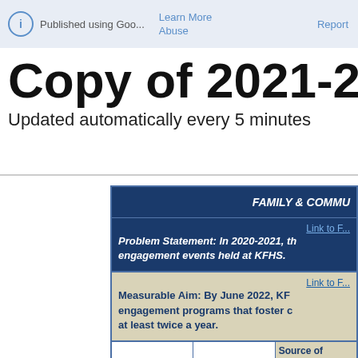Published using Goo... | Learn More | Report Abuse
Copy of 2021-22...
Updated automatically every 5 minutes
| FAMILY & COMMU... | Link to F... | Link to F... | Source of Data for... |
| --- | --- | --- | --- |
| Problem Statement: In 2020-2021, th... engagement events held at KFHS. |
| Measurable Aim: By June 2022, KF... engagement programs that foster c... at least twice a year. |
|  |  | Source of
Data for... |